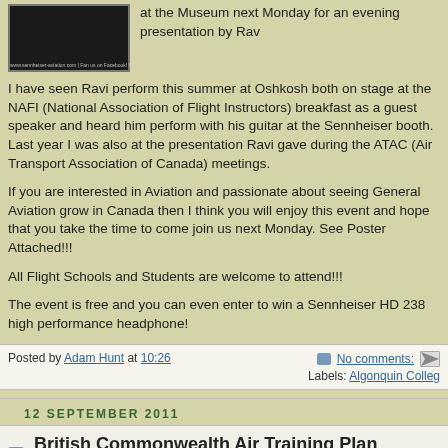[Figure (screenshot): Small image of Sennheiser Aviation website screenshot with website URLs at bottom]
at the Museum next Monday for an evening presentation by Rav
I have seen Ravi perform this summer at Oshkosh both on stage at the NAFI (National Association of Flight Instructors) breakfast as a guest speaker and heard him perform with his guitar at the Sennheiser booth. Last year I was also at the presentation Ravi gave during the ATAC (Air Transport Association of Canada) meetings.
If you are interested in Aviation and passionate about seeing General Aviation grow in Canada then I think you will enjoy this event and hope that you take the time to come join us next Monday. See Poster Attached!!!
All Flight Schools and Students are welcome to attend!!!
The event is free and you can even enter to win a Sennheiser HD 238 high performance headphone!
Posted by Adam Hunt at 10:26   No comments:   Labels: Algonquin Colleg
12 SEPTEMBER 2011
British Commonwealth Air Training Plan Tribute